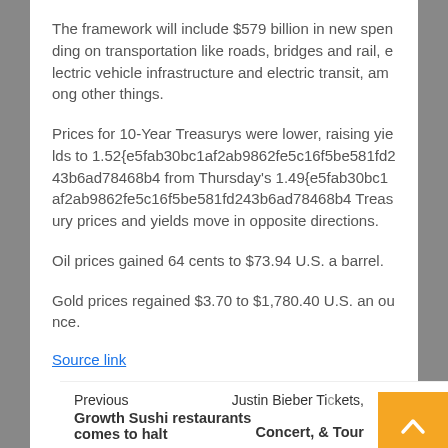The framework will include $579 billion in new spending on transportation like roads, bridges and rail, electric vehicle infrastructure and electric transit, among other things.
Prices for 10-Year Treasurys were lower, raising yields to 1.52{e5fab30bc1af2ab9862fe5c16f5be581fd243b6ad78468b4... from Thursday's 1.49{e5fab30bc1af2ab9862fe5c16f5be581fd243b6ad78468b4... Treasury prices and yields move in opposite directions.
Oil prices gained 64 cents to $73.94 U.S. a barrel.
Gold prices regained $3.70 to $1,780.40 U.S. an ounce.
Source link
Previous
Growth Sushi restaurants comes to halt
Justin Bieber Tickets, Concert, & Tour